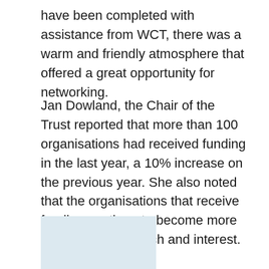have been completed with assistance from WCT, there was a warm and friendly atmosphere that offered a great opportunity for networking.
Jan Dowland, the Chair of the Trust reported that more than 100 organisations had received funding in the last year, a 10% increase on the previous year. She also noted that the organisations that receive funding continue to become more diverse is size, reach and interest.
[Figure (photo): A light blue rectangular image placeholder at the bottom left of the page.]